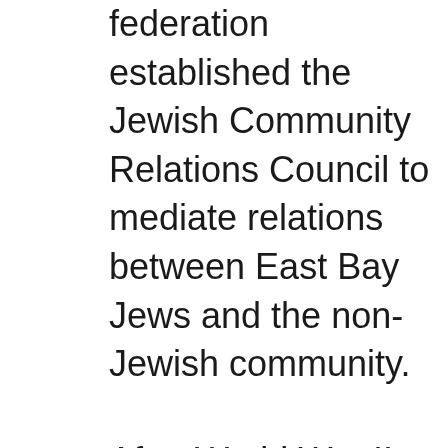federation established the Jewish Community Relations Council to mediate relations between East Bay Jews and the non-Jewish community.

After World War II, the federation's fundraising efforts kicked into high gear in an effort to provide relief for Jewish refugees in Europe and Palestine. Jewish fundraising reached new heights and the United